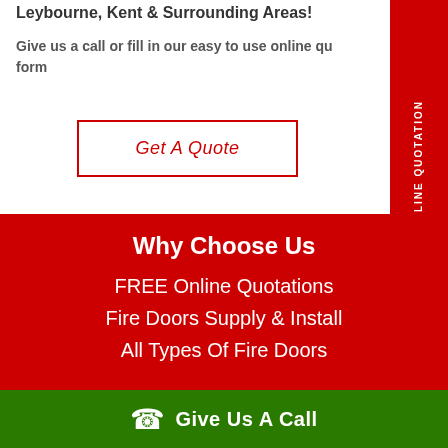Leybourne, Kent & Surrounding Areas!
Give us a call or fill in our easy to use online quotation form
Get A Quote
Why Choose Us
FREE Online Quotations
Fire Doors Supply & Install
All Types Of Fire Doors
Give Us A Call
FREE ONLINE QUOTATION